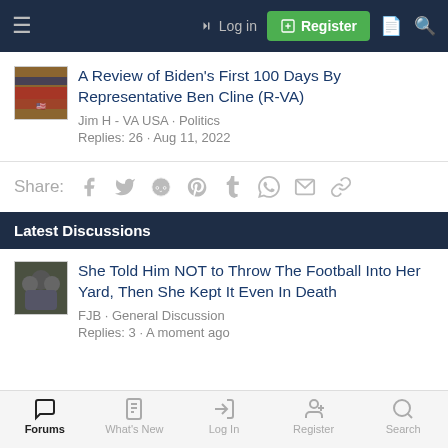Log in | Register
A Review of Biden's First 100 Days By Representative Ben Cline (R-VA)
Jim H - VA USA · Politics
Replies: 26 · Aug 11, 2022
Share:
Latest Discussions
She Told Him NOT to Throw The Football Into Her Yard, Then She Kept It Even In Death
FJB · General Discussion
Replies: 3 · A moment ago
Forums · What's New · Log In · Register · Search